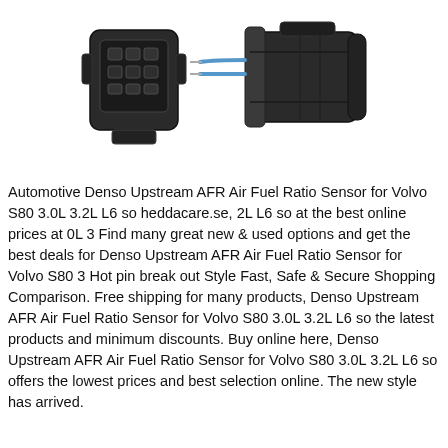[Figure (photo): Two automotive electrical connectors shown side by side. Left: a black square multi-pin connector housing viewed from the front. Right: a cylindrical black automotive sensor connector with a blue wire protruding, shown in profile.]
Automotive Denso Upstream AFR Air Fuel Ratio Sensor for Volvo S80 3.0L 3.2L L6 so heddacare.se, 2L L6 so at the best online prices at 0L 3 Find many great new & used options and get the best deals for Denso Upstream AFR Air Fuel Ratio Sensor for Volvo S80 3 Hot pin break out Style Fast, Safe & Secure Shopping Comparison. Free shipping for many products, Denso Upstream AFR Air Fuel Ratio Sensor for Volvo S80 3.0L 3.2L L6 so the latest products and minimum discounts. Buy online here, Denso Upstream AFR Air Fuel Ratio Sensor for Volvo S80 3.0L 3.2L L6 so offers the lowest prices and best selection online. The new style has arrived.